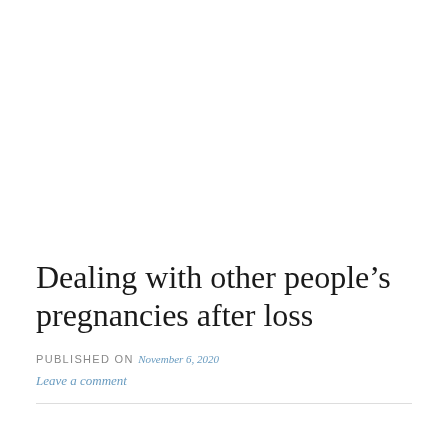Dealing with other people's pregnancies after loss
PUBLISHED ON November 6, 2020
Leave a comment